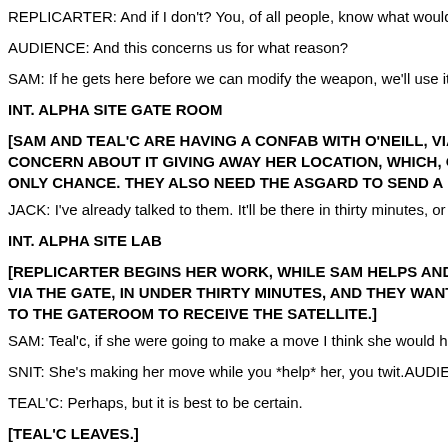REPLICARTER: And if I don't? You, of all people, know what would happe...
AUDIENCE: And this concerns us for what reason?
SAM: If he gets here before we can modify the weapon, we'll use it to dest...
INT. ALPHA SITE GATE ROOM
[SAM AND TEAL'C ARE HAVING A CONFAB WITH O'NEILL, VIA THE GA... CONCERN ABOUT IT GIVING AWAY HER LOCATION, WHICH, OH, BY... ONLY CHANCE. THEY ALSO NEED THE ASGARD TO SEND A DISRUPT...]
JACK: I've already talked to them. It'll be there in thirty minutes, or it's free...
INT. ALPHA SITE LAB
[REPLICARTER BEGINS HER WORK, WHILE SAM HELPS AND TEAL'C... VIA THE GATE, IN UNDER THIRTY MINUTES, AND THEY WANT A TIP, ... TO THE GATEROOM TO RECEIVE THE SATELLITE.]
SAM: Teal'c, if she were going to make a move I think she would have don...
SNIT: She's making her move while you *help* her, you twit.AUDIENCE: Y...
TEAL'C: Perhaps, but it is best to be certain.
[TEAL'C LEAVES.]
REPLICARTER: I understand Teal'c's concerns about me. To be honest, I'...
SAM: Teal'c doesn't know what you've been through. I do.
SNIT: No, you don't, you gullible fool.
REPLICARTER: It wasn't just what I showed you, was it? You experienced...